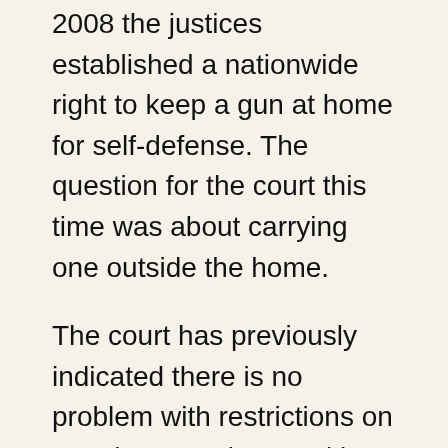2008 the justices established a nationwide right to keep a gun at home for self-defense. The question for the court this time was about carrying one outside the home.
The court has previously indicated there is no problem with restrictions on carrying guns in “sensitive places” including government buildings and schools. It has said the same about restricting felons and the mentally ill from carrying guns.
The challenge to the New York law was brought by the New York State Rifle & Pistol Association, which describes itself as the nation’s oldest firearms advocacy organization, and two men seeking an unrestricted ability to carry guns